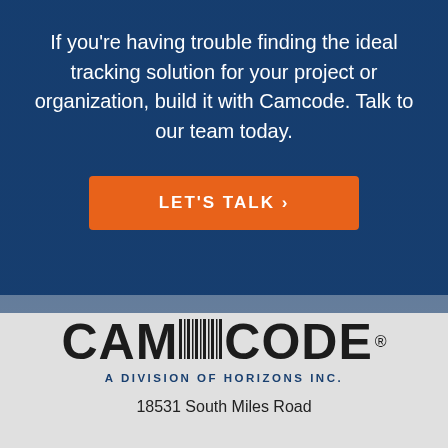If you're having trouble finding the ideal tracking solution for your project or organization, build it with Camcode. Talk to our team today.
LET'S TALK ›
[Figure (logo): Camcode logo with barcode graphic inside letters]
A DIVISION OF HORIZONS INC.
18531 South Miles Road